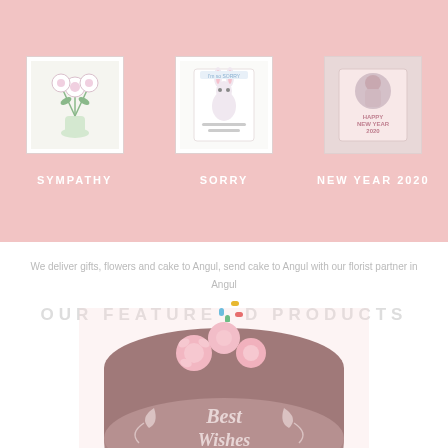[Figure (photo): Three product category tiles on pink background: SYMPATHY (flower bouquet), SORRY (greeting card), NEW YEAR 2020 (illustrated card)]
We deliver gifts, flowers and cake to Angul, send cake to Angul with our florist partner in Angul
OUR FEATURED PRODUCTS
[Figure (photo): A round chocolate cake decorated with pink flowers and 'Best Wishes' text in white frosting]